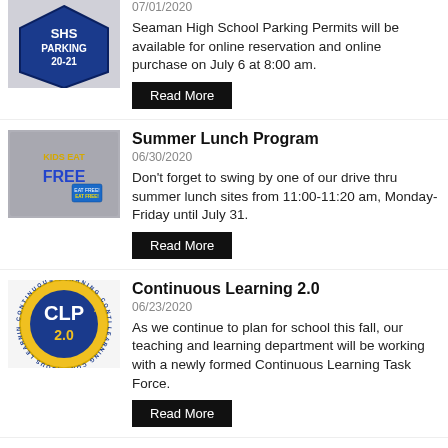[Figure (photo): Seaman High School parking permit sign reading SHS PARKING 20-21]
07/01/2020
Seaman High School Parking Permits will be available for online reservation and online purchase on July 6 at 8:00 am.
Read More
[Figure (photo): Sign reading KIDS EAT FREE with a small blue sticker]
Summer Lunch Program
06/30/2020
Don't forget to swing by one of our drive thru summer lunch sites from 11:00-11:20 am, Monday-Friday until July 31.
Read More
[Figure (logo): CLP 2.0 Continuous Learning Program circular logo with blue and gold colors]
Continuous Learning 2.0
06/23/2020
As we continue to plan for school this fall, our teaching and learning department will be working with a newly formed Continuous Learning Task Force.
Read More